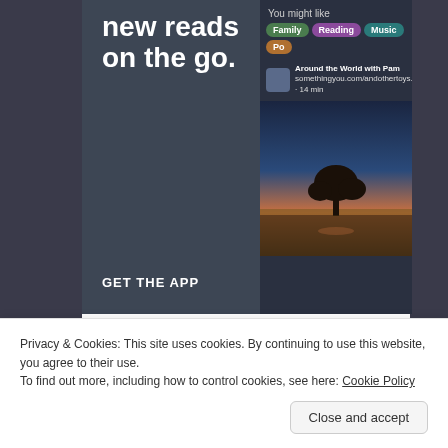[Figure (screenshot): App advertisement banner with dark background showing 'new reads on the go.' text and GET THE APP call to action, alongside a 'You might like' panel with podcast categories and a tree silhouette image]
REPORT THIS AD
Share this:
Twitter
Facebook
Reddit
Tumblr
Telegram
WhatsApp
Email
Privacy & Cookies: This site uses cookies. By continuing to use this website, you agree to their use.
To find out more, including how to control cookies, see here: Cookie Policy
Close and accept